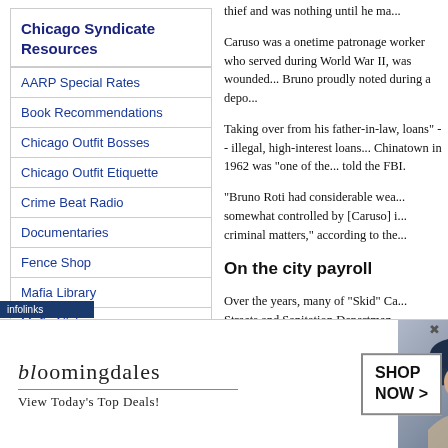Chicago Syndicate Resources
AARP Special Rates
Book Recommendations
Chicago Outfit Bosses
Chicago Outfit Etiquette
Crime Beat Radio
Documentaries
Fence Shop
Mafia Library
Mafia Nicknames
Mobsters at Apalachin
thief and was nothing until he ma...
Caruso was a onetime patronage worker who served during World War II, was wounded... Bruno proudly noted during a depo...
Taking over from his father-in-law, ... loans" -- illegal, high-interest loans... Chinatown in 1962 was "one of the... told the FBI.
"Bruno Roti had considerable wea... somewhat controlled by [Caruso] i... criminal matters," according to the...
On the city payroll
Over the years, many of "Skid" Ca... Streets and Sanitation Departmen...
[Figure (infographic): Bloomingdale's advertisement banner with logo, tagline 'View Today's Top Deals!', fashion photo of woman in large hat, and 'SHOP NOW >' button]